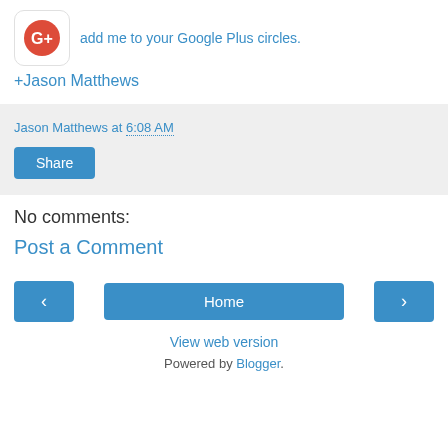[Figure (logo): Google Plus icon — red circle with G+ in white text, inside a white rounded square with light border]
add me to your Google Plus circles.
+Jason Matthews
Jason Matthews at 6:08 AM
Share
No comments:
Post a Comment
‹
Home
›
View web version
Powered by Blogger.